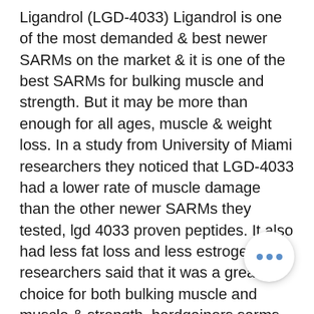Ligandrol (LGD-4033) Ligandrol is one of the most demanded & best newer SARMs on the market & it is one of the best SARMs for bulking muscle and strength. But it may be more than enough for all ages, muscle & weight loss. In a study from University of Miami researchers they noticed that LGD-4033 had a lower rate of muscle damage than the other newer SARMs they tested, lgd 4033 proven peptides. It also had less fat loss and less estrogen. The researchers said that it was a great choice for both bulking muscle and muscle & strength, hardgainers sarms best for. The company states that LGD-4033 has been used for a long time to treat hypertension, anadrol capsules. But it is still a very high dose SARMs that do have side effects including breast cancer. So I would say it is a good choice for muscle strength without any unwanted side effects. LGD-4033 can be purchased online at www, strength stacking poe 3.9.lgnocit, strength